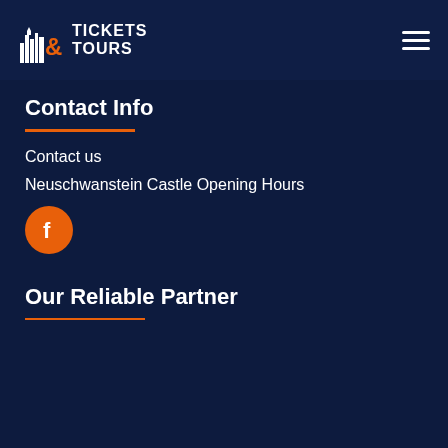Tickets & Tours (logo and navigation bar)
Contact Info
Contact us
Neuschwanstein Castle Opening Hours
[Figure (logo): Orange Facebook circle icon with white 'f' logo]
Our Reliable Partner